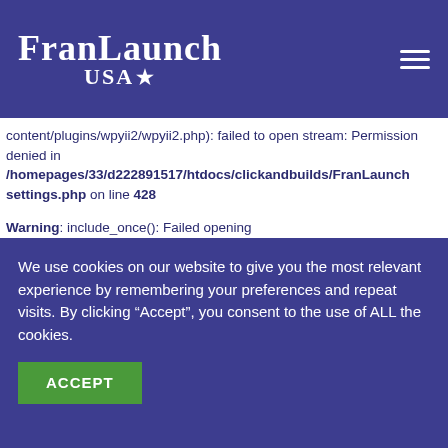FranLaunch USA★
content/plugins/wpyii2/wpyii2.php): failed to open stream: Permission denied in /homepages/33/d222891517/htdocs/clickandbuilds/FranLaunch settings.php on line 428
Warning: include_once(): Failed opening '/homepages/33/d222891517/htdocs/clickandbuilds/FranLaunch content/plugins/wpyii2/wpyii2.php' for inclusion
We use cookies on our website to give you the most relevant experience by remembering your preferences and repeat visits. By clicking "Accept", you consent to the use of ALL the cookies.
ACCEPT